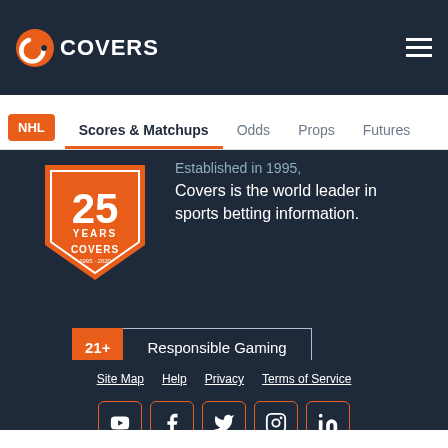COVERS
NHL | Scores & Matchups | Odds | Props | Futures
[Figure (logo): Covers 25 Years anniversary badge/shield logo in orange]
Established in 1995, Covers is the world leader in sports betting information.
21+ Responsible Gaming
Site Map | Help | Privacy | Terms of Service
[Figure (other): Social media icons: YouTube, Facebook, Twitter, Instagram, LinkedIn]